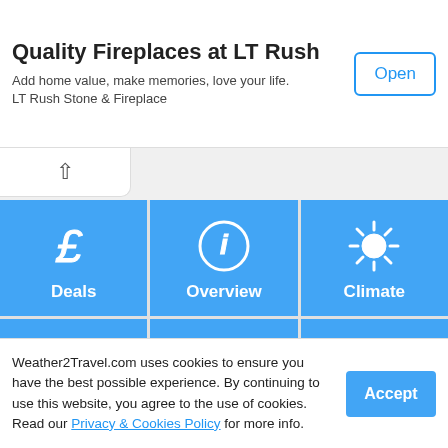[Figure (screenshot): Advertisement banner for LT Rush Stone & Fireplace with Open button]
Quality Fireplaces at LT Rush
Add home value, make memories, love your life. LT Rush Stone & Fireplace
[Figure (screenshot): Navigation grid with 6 icons: Deals, Overview, Climate, Destinations, Best time, Today on blue tiles]
[Figure (screenshot): Month selector row showing Jan, Feb, Mar, Apr, May, Jun]
Weather2Travel.com uses cookies to ensure you have the best possible experience. By continuing to use this website, you agree to the use of cookies. Read our Privacy & Cookies Policy for more info.